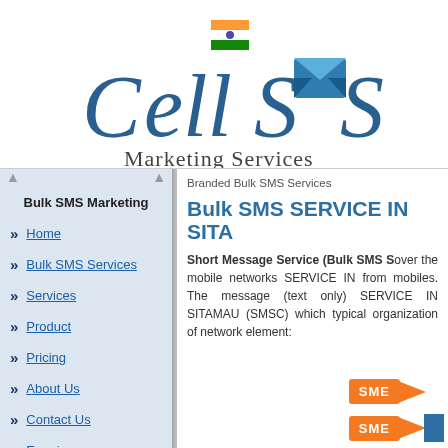[Figure (logo): CellSMS Marketing Services logo with Indian flag and envelope icon]
Bulk SMS Marketing
Home
Bulk SMS Services
Services
Product
Pricing
About Us
Contact Us
Enquiry
Branded Bulk SMS Services
Bulk SMS SERVICE IN SITA
Short Message Service (Bulk SMS S over the mobile networks SERVICE IN from mobiles. The message (text only) SERVICE IN SITAMAU (SMSC) which typical organization of network element: